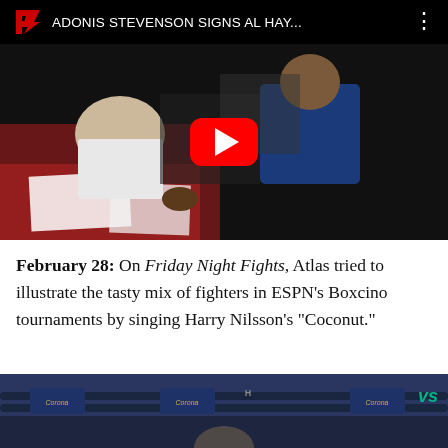[Figure (screenshot): YouTube video thumbnail showing 'ADONIS STEVENSON SIGNS AL HAY...' with Fight Network logo, people signing documents at a table, and a red YouTube play button overlay]
February 28: On Friday Night Fights, Atlas tried to illustrate the tasty mix of fighters in ESPN's Boxcino tournaments by singing Harry Nilsson's "Coconut."
[Figure (photo): Bottom portion of a boxing ring photo showing ring ropes with Corona and other sponsor logos, a person visible from shoulders up]